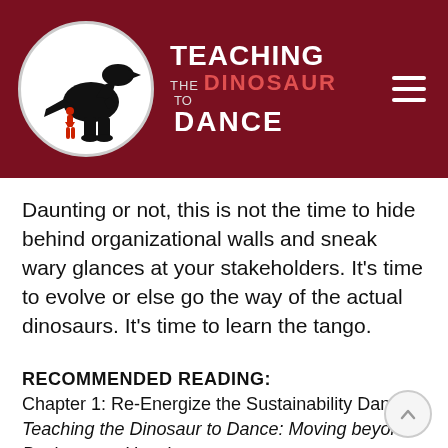[Figure (logo): Teaching the Dinosaur to Dance website header with circular logo showing a dinosaur silhouette and small human figure, site title text, and hamburger menu icon on dark red background]
Daunting or not, this is not the time to hide behind organizational walls and sneak wary glances at your stakeholders. It's time to evolve or else go the way of the actual dinosaurs. It's time to learn the tango.
RECOMMENDED READING:
Chapter 1: Re-Energize the Sustainability Dance, Teaching the Dinosaur to Dance: Moving beyond Business as Usual